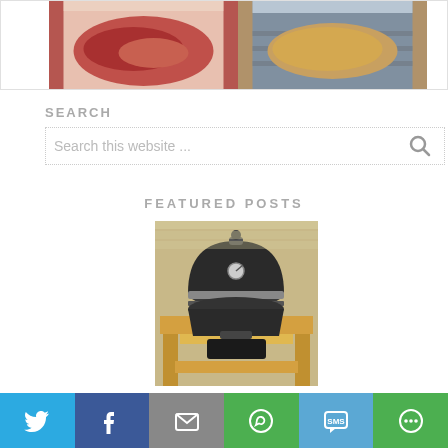[Figure (photo): Two food photos side by side: raw brisket on left, seasoned meat on grill on right, inside a bordered container]
SEARCH
Search this website ...
FEATURED POSTS
[Figure (photo): A ceramic kamado-style grill (black dome) sitting on a wooden table/stand, photographed outdoors]
Twitter | Facebook | Email | WhatsApp | SMS | More